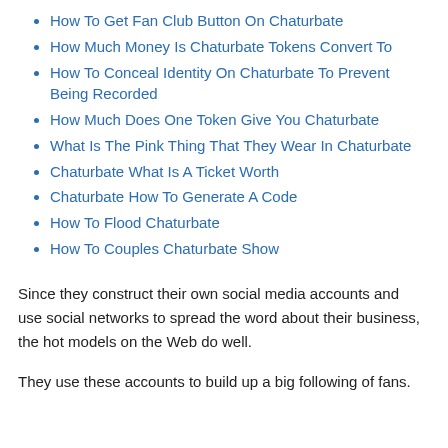How To Get Fan Club Button On Chaturbate
How Much Money Is Chaturbate Tokens Convert To
How To Conceal Identity On Chaturbate To Prevent Being Recorded
How Much Does One Token Give You Chaturbate
What Is The Pink Thing That They Wear In Chaturbate
Chaturbate What Is A Ticket Worth
Chaturbate How To Generate A Code
How To Flood Chaturbate
How To Couples Chaturbate Show
Since they construct their own social media accounts and use social networks to spread the word about their business, the hot models on the Web do well.
They use these accounts to build up a big following of fans.